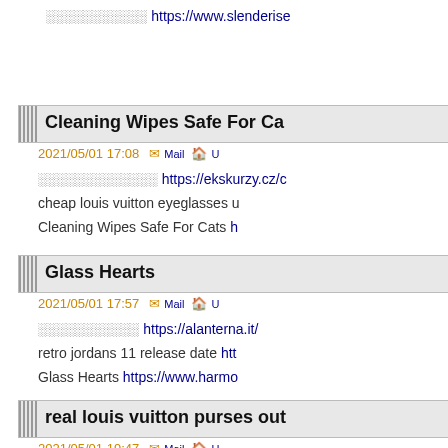░░░░░░░░░░░ https://www.slenderise...
Cleaning Wipes Safe For Ca...
2021/05/01 17:08  Mail  U
░░░░░░░░░░░░░ https://ekskurzy.cz/c...  cheap louis vuitton eyeglasses u...  Cleaning Wipes Safe For Cats h...
Glass Hearts
2021/05/01 17:57  Mail  U
░░░░░░░░░░░ https://alanterna.it/  retro jordans 11 release date htt...  Glass Hearts https://www.harmo...
real louis vuitton purses out...
2021/05/01 19:47  Mail  U
░░░░░░░░░░░░░░ https://www.neoder...  Heavy Duty Caster Price https://...  gucci san antonio http://www.pic...